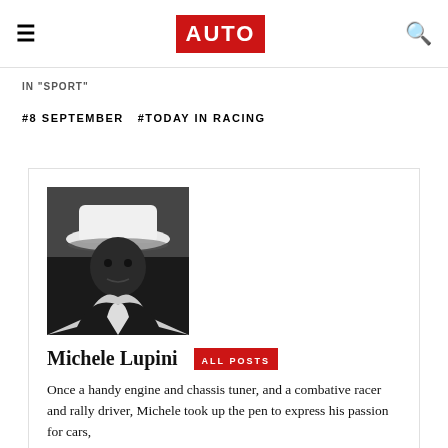AUTO
IN "SPORT"
#8 SEPTEMBER   #TODAY IN RACING
[Figure (photo): Black and white portrait photo of Michele Lupini wearing a white hat]
Michele Lupini   ALL POSTS
Once a handy engine and chassis tuner, and a combative racer and rally driver, Michele took up the pen to express his passion for cars,